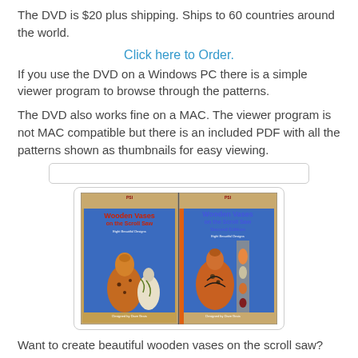The DVD is $20 plus shipping. Ships to 60 countries around the world.
Click here to Order.
If you use the DVD on a Windows PC there is a simple viewer program to browse through the patterns.
The DVD also works fine on a MAC. The viewer program is not MAC compatible but there is an included PDF with all the patterns shown as thumbnails for easy viewing.
[Figure (photo): Two book covers side by side: 'Wooden Vases on the Scroll Saw' first edition and second edition, showing decorative wooden vases on blue background, designed by Dave Grais (PSI)]
Want to create beautiful wooden vases on the scroll saw? My two "Wooden Vases on the Scroll Saw" books make it easy.